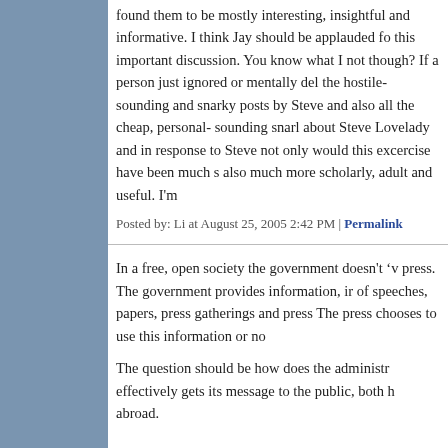found them to be mostly interesting, insightful and informative. I think Jay should be applauded for this important discussion. You know what I noticed though? If a person just ignored or mentally deleted the hostile- sounding and snarky posts by Steve and also all the cheap, personal- sounding snarky about Steve Lovelady and in response to Steve not only would this excercise have been much s also much more scholarly, adult and useful. I'm
Posted by: Li at August 25, 2005 2:42 PM | Permalink
In a free, open society the government doesn't 'v press. The government provides information, in of speeches, papers, press gatherings and press The press chooses to use this information or no
The question should be how does the administr effectively gets its message to the public, both h abroad.